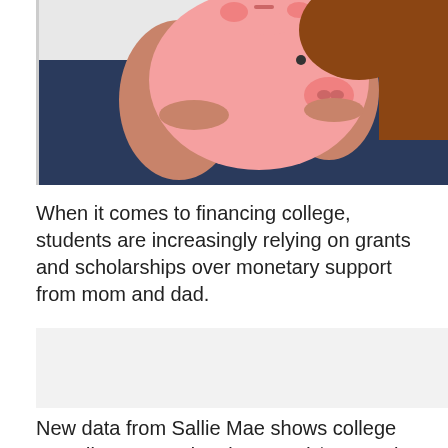[Figure (photo): A woman in a dark navy top holding a large pink piggy bank up to her face, appearing to look inside or shake it.]
When it comes to financing college, students are increasingly relying on grants and scholarships over monetary support from mom and dad.
[Figure (other): Advertisement placeholder block (light gray background).]
New data from Sallie Mae shows college spending per student is around $21,000 in 2012, down from $24,000 in 2010.